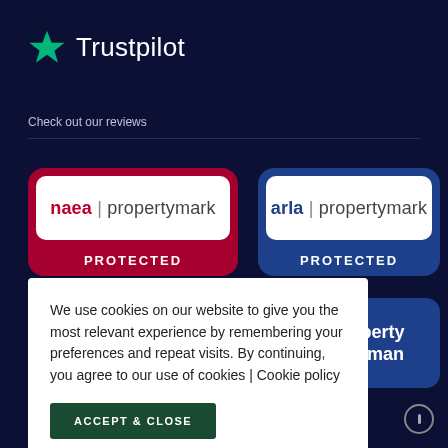[Figure (logo): Trustpilot logo with green star and white text 'Trustpilot' on dark navy background]
Check out our reviews
[Figure (logo): naea | propertymark PROTECTED badge — red background with white inner box]
[Figure (logo): arla | propertymark PROTECTED badge — blue background with white inner box]
[Figure (logo): The Property Ombudsman — blue rounded box with white bold text]
We use cookies on our website to give you the most relevant experience by remembering your preferences and repeat visits. By continuing, you agree to our use of cookies | Cookie policy
ACCEPT & CLOSE